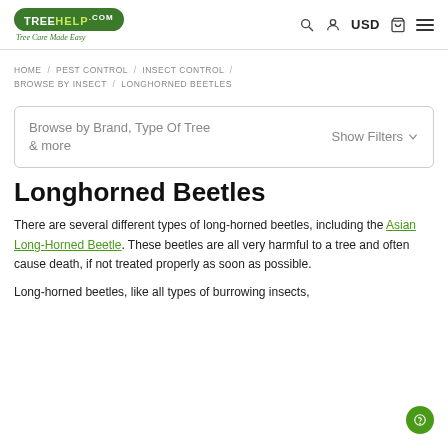TREEHELP.COM Tree Care Made Easy | USD
HOME / PEST CONTROL / INSECT CONTROL / BROWSE BY INSECT / LONGHORNED BEETLES
Browse by Brand, Type Of Tree & more   Show Filters
Longhorned Beetles
There are several different types of long-horned beetles, including the Asian Long-Horned Beetle. These beetles are all very harmful to a tree and often cause death, if not treated properly as soon as possible.
Long-horned beetles, like all types of burrowing insects,